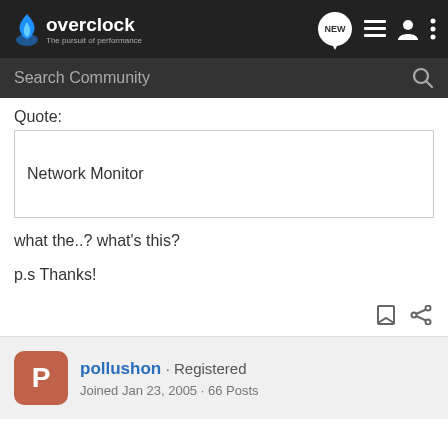overclock.net - The pursuit of performance
Search Community
Quote:
Network Monitor
what the..? what's this?
p.s Thanks!
pollushon · Registered
Joined Jan 23, 2005 · 66 Posts